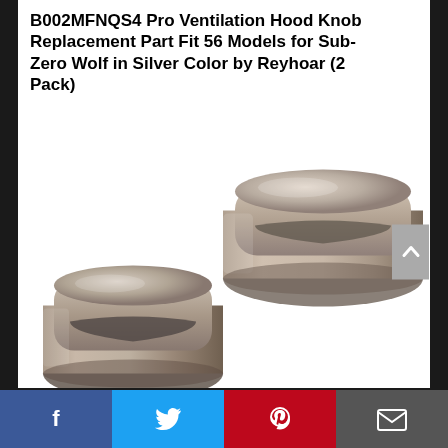B002MFNQS4 Pro Ventilation Hood Knob Replacement Part Fit 56 Models for Sub-Zero Wolf in Silver Color by Reyhoar (2 Pack)
[Figure (photo): Two silver metallic ventilation hood knob replacement parts. The knobs are cylindrical with a brushed silver finish and a slotted top. One knob is positioned higher and to the right, the other lower and to the left, both shown in close-up detail.]
Facebook | Twitter | Pinterest | Email